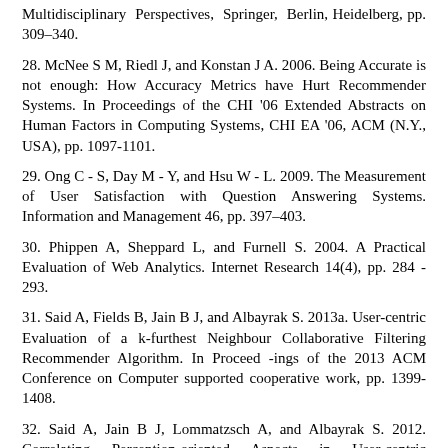Multidisciplinary Perspectives, Springer, Berlin, Heidelberg, pp. 309–340.
28. McNee S M, Riedl J, and Konstan J A. 2006. Being Accurate is not enough: How Accuracy Metrics have Hurt Recommender Systems. In Proceedings of the CHI '06 Extended Abstracts on Human Factors in Computing Systems, CHI EA '06, ACM (N.Y., USA), pp. 1097-1101.
29. Ong C - S, Day M - Y, and Hsu W - L. 2009. The Measurement of User Satisfaction with Question Answering Systems. Information and Management 46, pp. 397–403.
30. Phippen A, Sheppard L, and Furnell S. 2004. A Practical Evaluation of Web Analytics. Internet Research 14(4), pp. 284 - 293.
31. Said A, Fields B, Jain B J, and Albayrak S. 2013a. User-centric Evaluation of a k-furthest Neighbour Collaborative Filtering Recommender Algorithm. In Proceed -ings of the 2013 ACM Conference on Computer supported cooperative work, pp. 1399-1408.
32. Said A, Jain B J, Lommatzsch A, and Albayrak S. 2012. Correlating Perception-oriented Aspects in User-centric Recommender System Evaluation. In Proceedings of the 4th ACM Conference on Information Interaction in Context Symposium, pp. 294-297.
33. Saracevic T. 1995. Evaluation of Evaluation in Information Retrieval. In Proceedings of SIGIR-95,